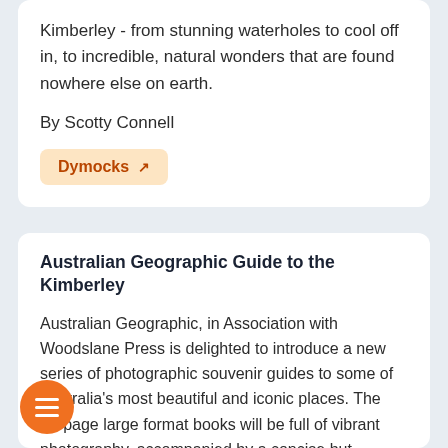Kimberley - from stunning waterholes to cool off in, to incredible, natural wonders that are found nowhere else on earth.
By Scotty Connell
Dymocks [external link]
Australian Geographic Guide to the Kimberley
Australian Geographic, in Association with Woodslane Press is delighted to introduce a new series of photographic souvenir guides to some of Australia's most beautiful and iconic places. The 64-page large format books will be full of vibrant photography, accompanied by a concise but fascinating commentary by some of